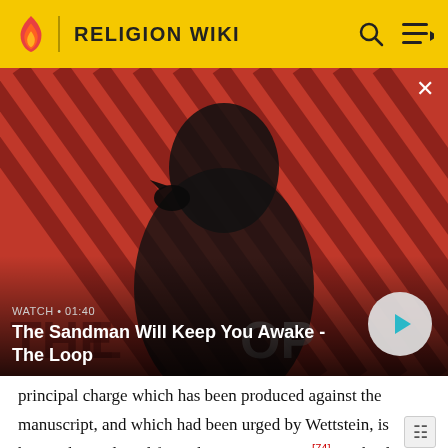RELIGION WIKI
[Figure (screenshot): Video thumbnail showing a dark figure with a raven on their shoulder against a red and black diagonal striped background. Overlay text reads 'WATCH · 01:40' and 'The Sandman Will Keep You Awake - The Loop' with a play button.]
principal charge which has been produced against the manuscript, and which had been urged by Wettstein, is having been altered from the Latin version.[74] Michaelis countered that the transcriber who lived in Egypt would not have altered the Greek text from a Latin version,